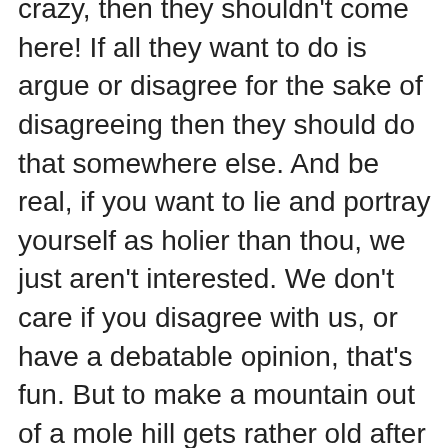crazy, then they shouldn't come here! If all they want to do is argue or disagree for the sake of disagreeing then they should do that somewhere else. And be real, if you want to lie and portray yourself as holier than thou, we just aren't interested. We don't care if you disagree with us, or have a debatable opinion, that's fun. But to make a mountain out of a mole hill gets rather old after awhile. I think commercial blogs are for that right? This is a personal blog with people who genuinely care not just about what we write but our fellow bloggers as well, we consider you all friends. We don't write a post to see how debatable it can be! Joy doesn't put up jokes to be taken seriously! It takes all the fun out of it. If we're constantly ridiculed for what we choose to